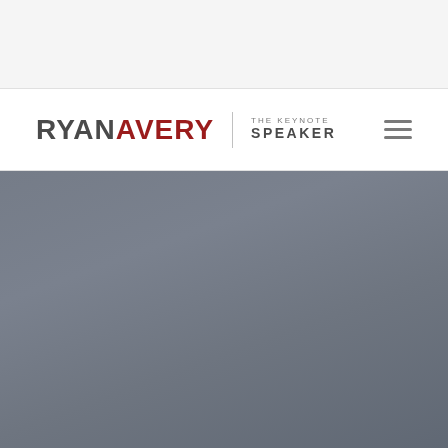[Figure (other): Top gray/light bar area background]
[Figure (logo): Ryan Avery The Keynote Speaker logo with hamburger menu icon]
[Figure (photo): Large dark blue-gray hero image area]